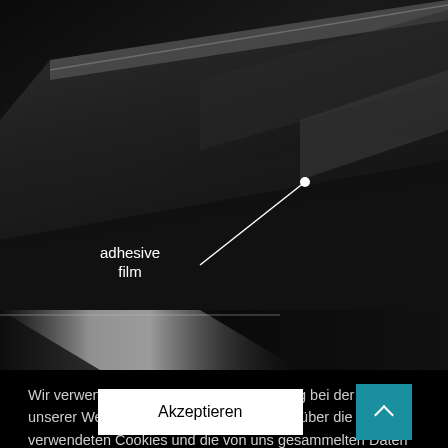[Figure (photo): Close-up of dark glossy adhesive film layers being peeled apart, with a white annotation line and dot pointing to the film surface, labeled 'adhesive film' in white text.]
[Figure (photo): Narrow strip showing a dark surface with a bright metallic/silver diagonal highlight, similar automotive or film material.]
Wir verwenden Cookies, um Ihre Erfahrung bei der Nutzung unserer Website zu verbessern. Um mehr über die von uns verwendeten Cookies und die von uns gesammelten Daten zu erfahren, besuchen Sie bitte unser Datenschutz-Einstellungen.
Akzeptieren